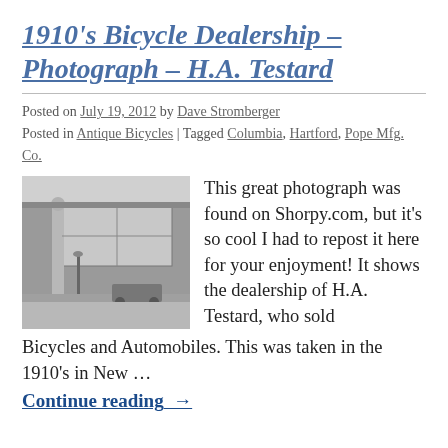1910's Bicycle Dealership – Photograph – H.A. Testard
Posted on July 19, 2012 by Dave Stromberger
Posted in Antique Bicycles | Tagged Columbia, Hartford, Pope Mfg. Co.
[Figure (photo): Black and white photograph of the H.A. Testard bicycle and automobile dealership storefront, circa 1910s, New York.]
This great photograph was found on Shorpy.com, but it's so cool I had to repost it here for your enjoyment! It shows the dealership of H.A. Testard, who sold Bicycles and Automobiles. This was taken in the 1910's in New …
Continue reading →